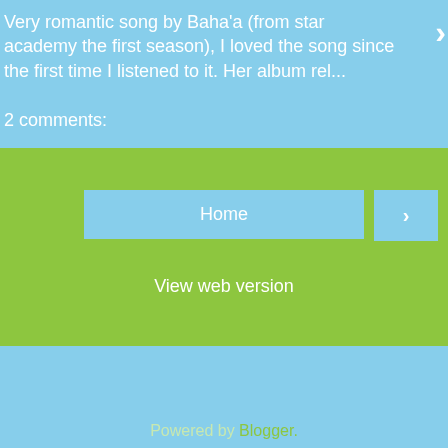Very romantic song by Baha'a (from star academy the first season), I loved the song since the first time I listened to it. Her album rel...
2 comments:
Home
›
View web version
Powered by Blogger.